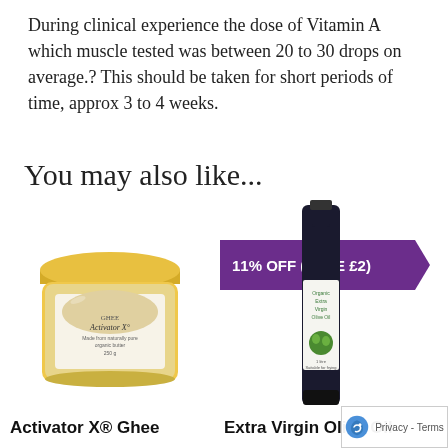During clinical experience the dose of Vitamin A which muscle tested was between 20 to 30 drops on average.? This should be taken for short periods of time, approx 3 to 4 weeks.
You may also like...
[Figure (photo): Jar of Activator X® Ghee product with gold lid and illustrated label]
Activator X® Ghee
[Figure (photo): Bottle of Extra Virgin Olive Oil with dark bottle and green label, shown with purple 11% OFF (SAVE £2) badge]
Extra Virgin Olive Oil
[Figure (logo): Google reCAPTCHA badge with Privacy - Terms label]